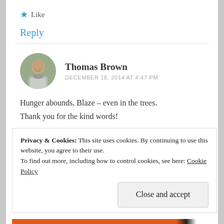★ Like
Reply
Thomas Brown
DECEMBER 18, 2014 AT 4:47 PM
Hunger abounds, Blaze – even in the trees.
Thank you for the kind words!
Privacy & Cookies: This site uses cookies. By continuing to use this website, you agree to their use.
To find out more, including how to control cookies, see here: Cookie Policy
Close and accept